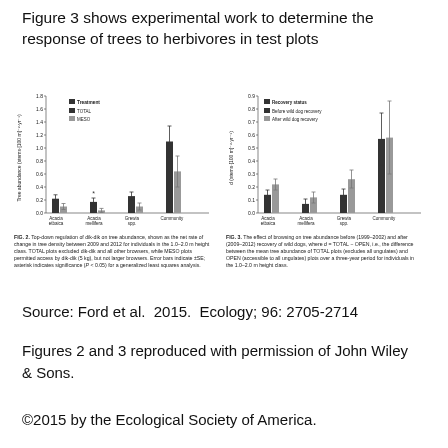Figure 3 shows experimental work to determine the response of trees to herbivores in test plots
[Figure (grouped-bar-chart): Fig. 2]
FIG. 2. Top-down regulation of dik-dik on tree abundance, shown as the net rate of change in tree density between 2009 and 2012 for individuals in the 1.0–2.0 m height class. TOTAL plots excluded dik-dik and all other browsers, while MESO plots permitted access by dik-dik (5 kg), but not larger browsers. Error bars indicate ±SE; asterisk indicates significance (P < 0.05) for a generalized least squares analysis.
[Figure (grouped-bar-chart): Fig. 3]
FIG. 3. The effect of browsing on tree abundance before (1999–2002) and after (2009–2012) recovery of wild dogs, where d = TOTAL − OPEN, i.e., the difference between the mean tree abundance of TOTAL plots (excludes all ungulates) and OPEN (accessible to all ungulates) plots over a three-year period for individuals in the 1.0–2.0 m height class.
Source: Ford et al.  2015.  Ecology; 96: 2705-2714
Figures 2 and 3 reproduced with permission of John Wiley & Sons.
©2015 by the Ecological Society of America.